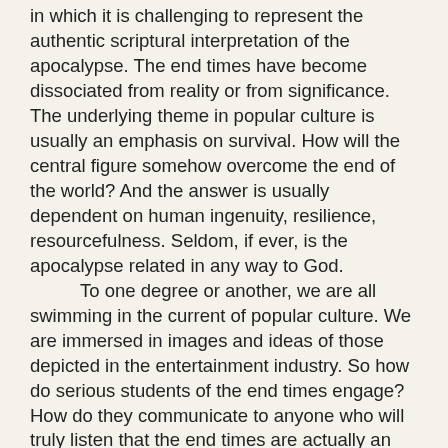in which it is challenging to represent the authentic scriptural interpretation of the apocalypse. The end times have become dissociated from reality or from significance. The underlying theme in popular culture is usually an emphasis on survival. How will the central figure somehow overcome the end of the world? And the answer is usually dependent on human ingenuity, resilience, resourcefulness. Seldom, if ever, is the apocalypse related in any way to God.
	To one degree or another, we are all swimming in the current of popular culture. We are immersed in images and ideas of those depicted in the entertainment industry. So how do serious students of the end times engage? How do they communicate to anyone who will truly listen that the end times are actually an essential chapter in the cosmic conflict in which Satan is doing all he can to destroy us and God loves us and is doing all He can to save us?
	This is a concept that is quite alien at first glance. If the apocalypse means only the extinction of humanity, let's face it: Annihilation doesn't sound all that